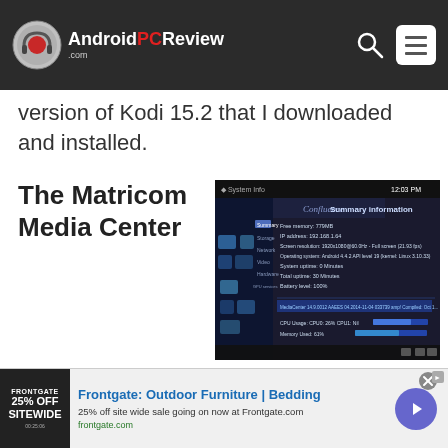AndroidPCReview.com
version of Kodi 15.2 that I downloaded and installed.
The Matricom Media Center
[Figure (screenshot): Screenshot of Kodi 15.2 System Info screen showing Confluence skin with Summary information: Free memory: 779MB, IP address: 192.168.1.64, Screen resolution: 1920x1080@60.0Hz - Full screen (21.93 fps), Operating system: Android 4.4.2 API level 19 (kernel: Linux 3.10.33), System uptime: 0 Minutes, Total uptime: 30 Minutes, Battery level: 100%]
mostly performed
[Figure (infographic): Frontgate advertisement banner: 25% off site wide sale. Frontgate Outdoor Furniture | Bedding. 25% off site wide sale going on now at Frontgate.com. frontgate.com]